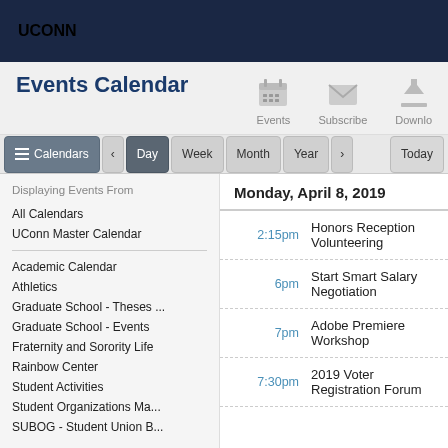UCONN
Events Calendar
Events  Subscribe  Download
Calendars  <  Day  Week  Month  Year  >  Today
Displaying Events From
All Calendars
UConn Master Calendar
Academic Calendar
Athletics
Graduate School - Theses ...
Graduate School - Events
Fraternity and Sorority Life
Rainbow Center
Student Activities
Student Organizations Ma...
SUBOG - Student Union B...
Monday, April 8, 2019
2:15pm  Honors Reception Volunteering
6pm  Start Smart Salary Negotiation
7pm  Adobe Premiere Workshop
7:30pm  2019 Voter Registration Forum